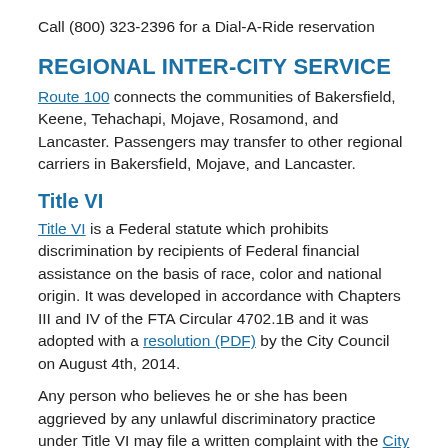Call (800) 323-2396 for a Dial-A-Ride reservation
REGIONAL INTER-CITY SERVICE
Route 100 connects the communities of Bakersfield, Keene, Tehachapi, Mojave, Rosamond, and Lancaster. Passengers may transfer to other regional carriers in Bakersfield, Mojave, and Lancaster.
Title VI
Title VI is a Federal statute which prohibits discrimination by recipients of Federal financial assistance on the basis of race, color and national origin. It was developed in accordance with Chapters III and IV of the FTA Circular 4702.1B and it was adopted with a resolution (PDF) by the City Council on August 4th, 2014.
Any person who believes he or she has been aggrieved by any unlawful discriminatory practice under Title VI may file a written complaint with the City of Tehachapi (PDF) or Kern Regional Transit "KRT" (PDF).